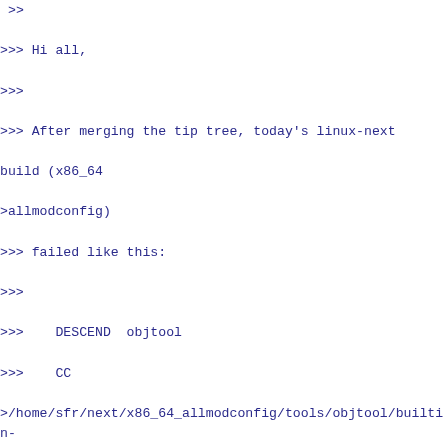>>
>>> Hi all,
>>>
>>> After merging the tip tree, today's linux-next build (x86_64
>allmodconfig)
>>> failed like this:
>>>
>>>    DESCEND  objtool
>>>    CC      >/home/sfr/next/x86_64_allmodconfig/tools/objtool/builtin-check.o
>>>    CC      >/home/sfr/next/x86_64_allmodconfig/tools/objtool/special
>>>    CC      /home/sfr/next/x86_64_allmodconfig/tools/objtool/elf.o
>>>    CC      >/home/sfr/next/x86_64_allmodconfig/tools/objtool/objtool
>>>    MKDIR   >/home/sfr/next/x86_64_allmodconfig/tools/objtool/arch/x8
>>>    CC      >/home/sfr/next/x86_64_allmodconfig/tools/objtool/libstr
>>> elf.c:22:23: fatal error: sys/types.h: No such file or directory
>>> compilation terminated.
>>>    CC      >/home/sfr/next/x86_64_allmodconfig/tools/objtool/exec-cmd.o
>>>    CC      /home/sfr/next/x86_64_allmodconfig/tools/objtool/help.o